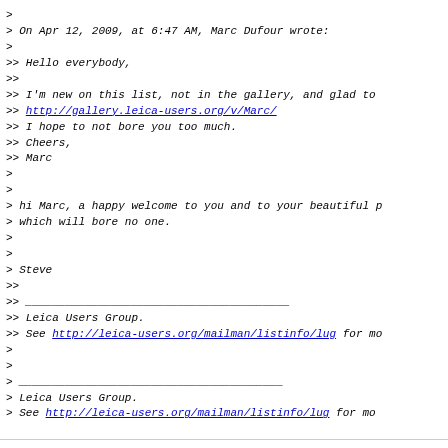>
> On Apr 12, 2009, at 6:47 AM, Marc Dufour wrote:
>
>> Hello everybody,
>>
>> I'm new on this list, not in the gallery, and glad to
>> http://gallery.leica-users.org/v/Marc/
>> I hope to not bore you too much.
>> Cheers,
>> Marc
>
>
> hi Marc, a happy welcome to you and to your beautiful p
> which will bore no one.
>
>
> Steve
>>
>> ________________________________________
>> Leica Users Group.
>> See http://leica-users.org/mailman/listinfo/lug for mo
>
>
> ________________________________________
> Leica Users Group.
> See http://leica-users.org/mailman/listinfo/lug for mo